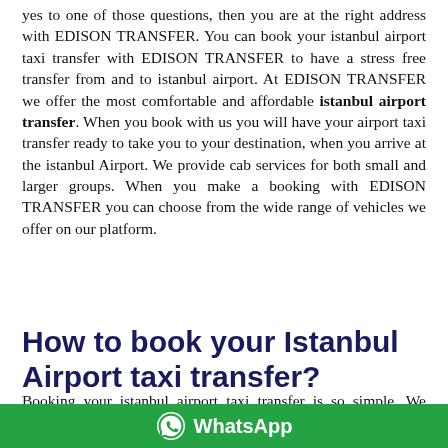yes to one of those questions, then you are at the right address with EDISON TRANSFER. You can book your istanbul airport taxi transfer with EDISON TRANSFER to have a stress free transfer from and to istanbul airport. At EDISON TRANSFER we offer the most comfortable and affordable istanbul airport transfer. When you book with us you will have your airport taxi transfer ready to take you to your destination, when you arrive at the istanbul Airport. We provide cab services for both small and larger groups. When you make a booking with EDISON TRANSFER you can choose from the wide range of vehicles we offer on our platform.
How to book your Istanbul Airport taxi transfer?
Booking your istanbul airport taxi transfer is so simple. We strive to provide you with the best service possible. You can just fill out the form on website with your travel details and
WhatsApp